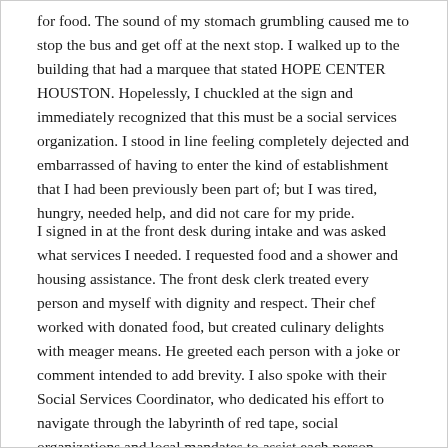for food. The sound of my stomach grumbling caused me to stop the bus and get off at the next stop. I walked up to the building that had a marquee that stated HOPE CENTER HOUSTON. Hopelessly, I chuckled at the sign and immediately recognized that this must be a social services organization. I stood in line feeling completely dejected and embarrassed of having to enter the kind of establishment that I had been previously been part of; but I was tired, hungry, needed help, and did not care for my pride.
I signed in at the front desk during intake and was asked what services I needed. I requested food and a shower and housing assistance. The front desk clerk treated every person and myself with dignity and respect. Their chef worked with donated food, but created culinary delights with meager means. He greeted each person with a joke or comment intended to add brevity. I also spoke with their Social Services Coordinator, who dedicated his effort to navigate through the labyrinth of red tape, social organizations and local mandates to assist each person, including myself with finding housing. After speaking with the Social Services Coordinator, he stopped me before leaving and told me that it would benefit me to speak with